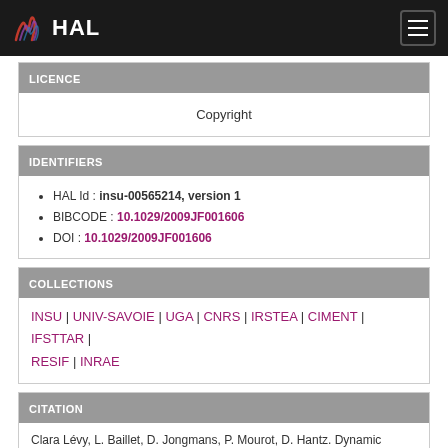HAL
LICENCE
Copyright
IDENTIFIERS
HAL Id : insu-00565214, version 1
BIBCODE : 10.1029/2009JF001606
DOI : 10.1029/2009JF001606
COLLECTIONS
INSU | UNIV-SAVOIE | UGA | CNRS | IRSTEA | CIMENT | IFSTTAR | RESIF | INRAE
CITATION
Clara Lévy, L. Baillet, D. Jongmans, P. Mourot, D. Hantz. Dynamic response of the Chamousset rock column (Western Alps, France). Journal of Geophysical Research, American Geophysical Union, 2010,